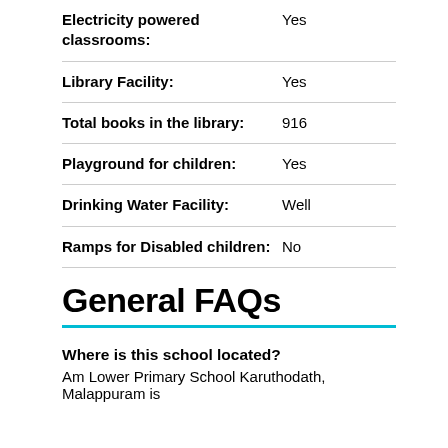| Feature | Value |
| --- | --- |
| Electricity powered classrooms: | Yes |
| Library Facility: | Yes |
| Total books in the library: | 916 |
| Playground for children: | Yes |
| Drinking Water Facility: | Well |
| Ramps for Disabled children: | No |
General FAQs
Where is this school located?
Am Lower Primary School Karuthodath, Malappuram is